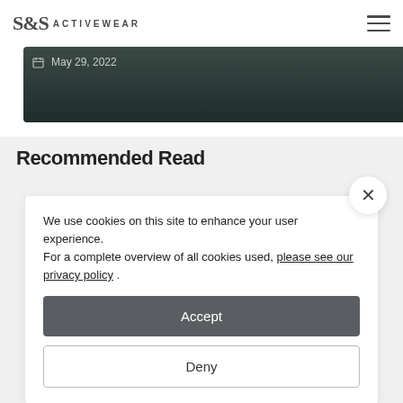S&S ACTIVEWEAR
[Figure (photo): Dark teal/green background image, partially visible at top of page]
May 29, 2022
Recommended Read
We use cookies on this site to enhance your user experience.
For a complete overview of all cookies used, please see our privacy policy .
Accept
Deny